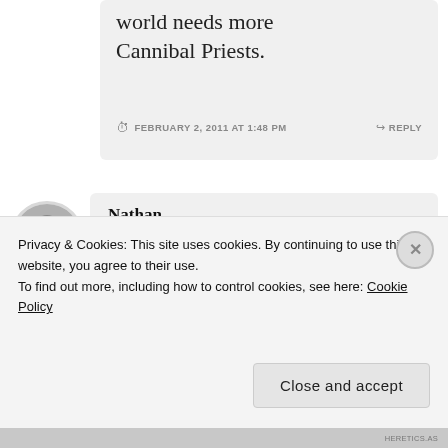world needs more Cannibal Priests.
FEBRUARY 2, 2011 AT 1:48 PM
REPLY
Nathan
It’s all your fault, Alexa.
Privacy & Cookies: This site uses cookies. By continuing to use this website, you agree to their use. To find out more, including how to control cookies, see here: Cookie Policy
Close and accept